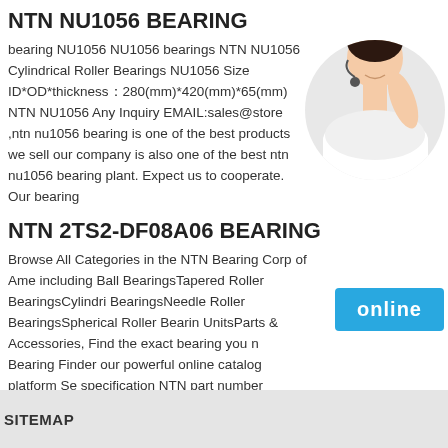NTN NU1056 BEARING
bearing NU1056 NU1056 bearings NTN NU1056 Cylindrical Roller Bearings NU1056 Size ID*OD*thickness：280(mm)*420(mm)*65(mm) NTN NU1056 Any Inquiry EMAIL:sales@store ,ntn nu1056 bearing is one of the best products we sell our company is also one of the best ntn nu1056 bearing plant. Expect us to cooperate. Our bearing
[Figure (photo): Customer service woman with headset, smiling, circular crop]
NTN 2TS2-DF08A06 BEARING
Browse All Categories in the NTN Bearing Corp of Ame including Ball BearingsTapered Roller BearingsCylindri BearingsNeedle Roller BearingsSpherical Roller Bearin UnitsParts & Accessories, Find the exact bearing you n Bearing Finder our powerful online catalog platform Se specification NTN part number competitor part number a specific product category to order parts or download illustrations You can also view our market and category specific catalogs
[Figure (other): Online button - blue rectangle with white text 'online']
SITEMAP